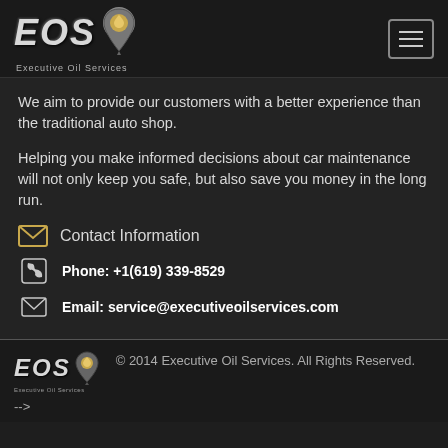EOS Executive Oil Services — navigation header with logo and hamburger menu
We aim to provide our customers with a better experience than the traditional auto shop.
Helping you make informed decisions about car maintenance will not only keep you safe, but also save you money in the long run.
Contact Information
Phone: +1(619) 339-8529
Email: service@executiveoilservices.com
© 2014 Executive Oil Services. All Rights Reserved. -->